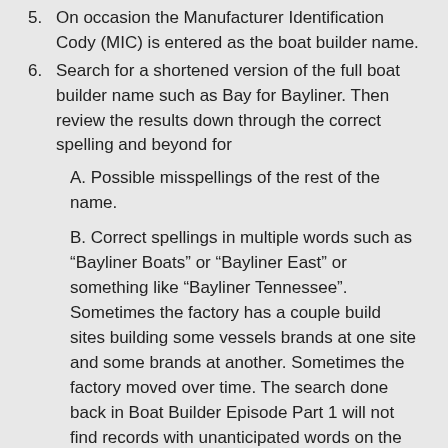5. On occasion the Manufacturer Identification Cody (MIC) is entered as the boat builder name.
6. Search for a shortened version of the full boat builder name such as Bay for Bayliner. Then review the results down through the correct spelling and beyond for
A. Possible misspellings of the rest of the name.
B. Correct spellings in multiple words such as “Bayliner Boats” or “Bayliner East” or something like “Bayliner Tennessee”. Sometimes the factory has a couple build sites building some vessels brands at one site and some brands at another. Sometimes the factory moved over time. The search done back in Boat Builder Episode Part 1 will not find records with unanticipated words on the end of the boat builder’s name.